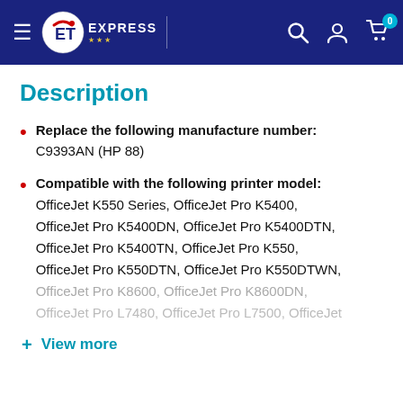ET Express — navigation bar with logo, search, account, and cart icons
Description
Replace the following manufacture number: C9393AN (HP 88)
Compatible with the following printer model: OfficeJet K550 Series, OfficeJet Pro K5400, OfficeJet Pro K5400DN, OfficeJet Pro K5400DTN, OfficeJet Pro K5400TN, OfficeJet Pro K550, OfficeJet Pro K550DTN, OfficeJet Pro K550DTWN, OfficeJet Pro K8600, OfficeJet Pro K8600DN, OfficeJet Pro L7480, OfficeJet Pro L7500, OfficeJet...
+ View more